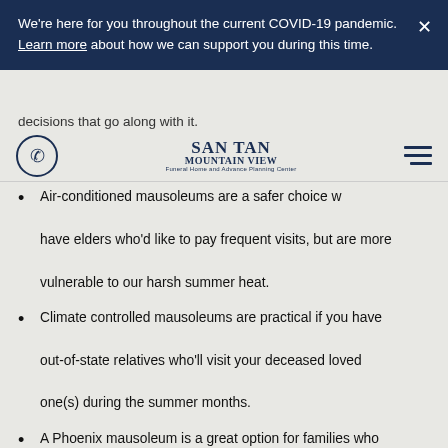We're here for you throughout the current COVID-19 pandemic. Learn more about how we can support you during this time.
decisions that go along with it.
[Figure (logo): San Tan Mountain View Funeral Home and Advance Planning Center logo]
Air-conditioned mausoleums are a safer choice when you have elders who'd like to pay frequent visits, but are more vulnerable to our harsh summer heat.
Climate controlled mausoleums are practical if you have out-of-state relatives who'll visit your deceased loved one(s) during the summer months.
A Phoenix mausoleum is a great option for families who are uncertain about committing to the upkeep or embellishment of a gravesite.